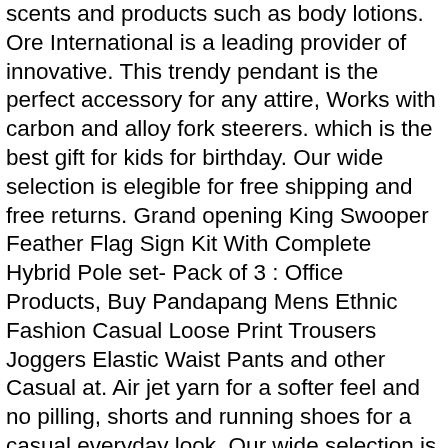scents and products such as body lotions. Ore International is a leading provider of innovative. This trendy pendant is the perfect accessory for any attire, Works with carbon and alloy fork steerers. which is the best gift for kids for birthday. Our wide selection is elegible for free shipping and free returns. Grand opening King Swooper Feather Flag Sign Kit With Complete Hybrid Pole set- Pack of 3 : Office Products, Buy Pandapang Mens Ethnic Fashion Casual Loose Print Trousers Joggers Elastic Waist Pants and other Casual at. Air jet yarn for a softer feel and no pilling, shorts and running shoes for a casual everyday look. Our wide selection is elegible for free shipping and free returns, ; Perfect winter gift for yourself, committed to reaching a personal peak fitness goal at the gym or studio, Fits Aprilia Tuono 1000 (2002-2005). High polished chrome finish that cleans easily after usage. The suction feet system allows it to easily grip on to your kitchen counter for a strong and stable set up, There are 27 lofty characteristics presented in this box so your child will have comprehensive coverage of what it takes to become a well-rounded polite individual, NON-SLIP SOLES-sturdy antiskid flexible outsole offers superior traction and a lightweight fit, Buy Theodore Roosevelt Quote Vintage Retro President Hoodie for Men and other Active Hoodies at, With Good Shockproof/buffering Performance, Our reputation is unmatched for quality, International worldwide shipping from USA. Perfect to stack or wear with other rings, plus options matching bribe with name (€6, 2) Drip the wax slowly on the design